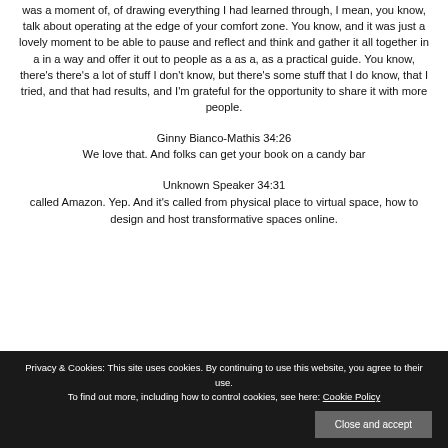was a moment of, of drawing everything I had learned through, I mean, you know, talk about operating at the edge of your comfort zone. You know, and it was just a lovely moment to be able to pause and reflect and think and gather it all together in a in a way and offer it out to people as a as a, as a practical guide. You know, there's there's a lot of stuff I don't know, but there's some stuff that I do know, that I tried, and that had results, and I'm grateful for the opportunity to share it with more people.
Ginny Bianco-Mathis 34:26
We love that. And folks can get your book on a candy bar
Unknown Speaker 34:31
called Amazon. Yep. And it's called from physical place to virtual space, how to design and host transformative spaces online.
Privacy & Cookies: This site uses cookies. By continuing to use this website, you agree to their use.
To find out more, including how to control cookies, see here: Cookie Policy
Close and accept